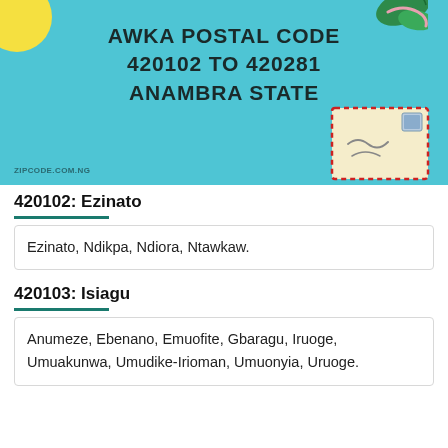[Figure (illustration): Decorative banner with teal background, sun graphic top-left, leaf/plant graphics top-right, a postage envelope illustration bottom-right, and zipcode.com.ng watermark bottom-left. Title text reads: AWKA POSTAL CODE 420102 TO 420281 ANAMBRA STATE.]
420102: Ezinato
Ezinato, Ndikpa, Ndiora, Ntawkaw.
420103: Isiagu
Anumeze, Ebenano, Emuofite, Gbaragu, Iruoge, Umuakunwa, Umudike-Irioman, Umuonyia, Uruoge.